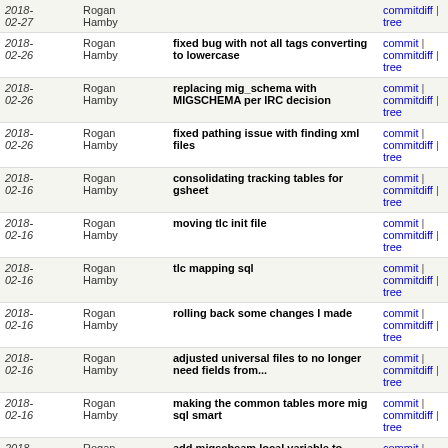| Date | Author | Message | Links |
| --- | --- | --- | --- |
| 2018-02-27 | Rogan Hamby |  | commit | commitdiff | tree |
| 2018-02-26 | Rogan Hamby | fixed bug with not all tags converting to lowercase | commit | commitdiff | tree |
| 2018-02-26 | Rogan Hamby | replacing mig_schema with MIGSCHEMA per IRC decision | commit | commitdiff | tree |
| 2018-02-26 | Rogan Hamby | fixed pathing issue with finding xml files | commit | commitdiff | tree |
| 2018-02-16 | Rogan Hamby | consolidating tracking tables for gsheet | commit | commitdiff | tree |
| 2018-02-16 | Rogan Hamby | moving tlc init file | commit | commitdiff | tree |
| 2018-02-16 | Rogan Hamby | tlc mapping sql | commit | commitdiff | tree |
| 2018-02-16 | Rogan Hamby | rolling back some changes I made | commit | commitdiff | tree |
| 2018-02-16 | Rogan Hamby | adjusted universal files to no longer need fields from... | commit | commitdiff | tree |
| 2018-02-16 | Rogan Hamby | making the common tables more mig sql smart | commit | commitdiff | tree |
| 2018-02-16 | Rogan Hamby | add migscheam local variable to invocation | commit | commitdiff | tree |
| 2018-02-16 | Rogan Hamby | commenting out the other way of invoking path | commit | commitdiff | tree |
| 2018-02-16 | Rogan Hamby | add mig-sql the show path | commit | commitdiff | tree |
| 2018-02-16 | Rogan Hamby | common tables that will be used by gsheet | commit | commitdiff | tree |